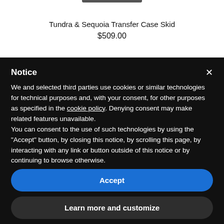Tundra & Sequoia Transfer Case Skid
$509.00
Notice
We and selected third parties use cookies or similar technologies for technical purposes and, with your consent, for other purposes as specified in the cookie policy. Denying consent may make related features unavailable.
You can consent to the use of such technologies by using the "Accept" button, by closing this notice, by scrolling this page, by interacting with any link or button outside of this notice or by continuing to browse otherwise.
Accept
Learn more and customize